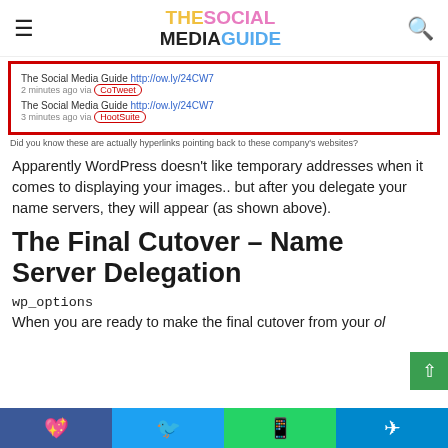THE SOCIAL MEDIA GUIDE
[Figure (screenshot): Screenshot of Twitter/social media feed showing tweets from The Social Media Guide via CoTweet and HootSuite, with red oval highlights around the via-labels and red border around the screenshot.]
Did you know these are actually hyperlinks pointing back to these company's websites?
Apparently WordPress doesn't like temporary addresses when it comes to displaying your images.. but after you delegate your name servers, they will appear (as shown above).
The Final Cutover – Name Server Delegation
wp_options
When you are ready to make the final cutover from your old
Facebook  Twitter  WhatsApp  Telegram